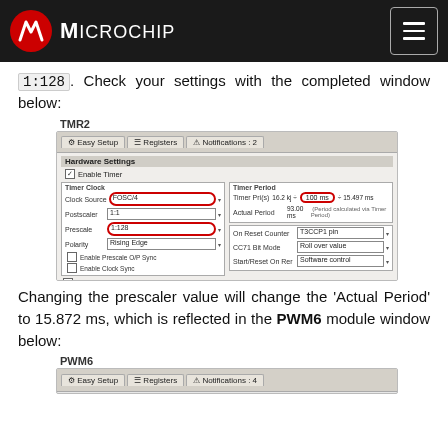Microchip
1:128. Check your settings with the completed window below:
[Figure (screenshot): TMR2 configuration window screenshot showing Hardware Settings with Clock Source: FOSC/4 (circled), Postscaler: 1:1, Prescaler: 1:128 (circled), Polarity: Rising Edge, Timer Period with 100 ms highlighted (circled), Actual Period: 93.00 ms, On Reset Counter: T3CCP1 pin, CCT1 Bit Mode: Roll over value, Start/Reset On Rer: Software control. Software Settings section at bottom.]
Changing the prescaler value will change the 'Actual Period' to 15.872 ms, which is reflected in the PWM6 module window below:
PWM6
[Figure (screenshot): PWM6 window showing Easy Setup, Registers, Notifications:4 tabs]